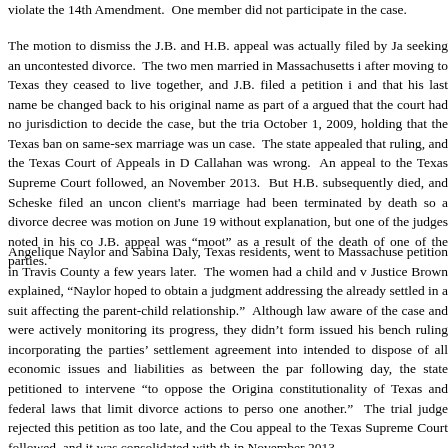violate the 14th Amendment.  One member did not participate in the case.
The motion to dismiss the J.B. and H.B. appeal was actually filed by Ja seeking an uncontested divorce.  The two men married in Massachusetts i after moving to Texas they ceased to live together, and J.B. filed a petition i and that his last name be changed back to his original name as part of a argued that the court had no jurisdiction to decide the case, but the tria October 1, 2009, holding that the Texas ban on same-sex marriage was un case.  The state appealed that ruling, and the Texas Court of Appeals in D Callahan was wrong.  An appeal to the Texas Supreme Court followed, and November 2013.  But H.B. subsequently died, and Scheske filed an uncont client's marriage had been terminated by death so a divorce decree was motion on June 19 without explanation, but one of the judges noted in his co J.B. appeal was “moot” as a result of the death of one of the parties.
Angelique Naylor and Sabina Daly, Texas residents, went to Massachuse petition in Travis County a few years later.  The women had a child and v Justice Brown explained, “Naylor hoped to obtain a judgment addressing the already settled in a suit affecting the parent-child relationship.”  Although law aware of the case and were actively monitoring its progress, they didn’t form issued his bench ruling incorporating the parties’ settlement agreement into intended to dispose of all economic issues and liabilities as between the par following day, the state petitioned to intervene “to oppose the Origina constitutionality of Texas and federal laws that limit divorce actions to perso one another.”  The trial judge rejected this petition as too late, and the Cou appeal to the Texas Supreme Court followed, and it was consolidated with th in November 2013.